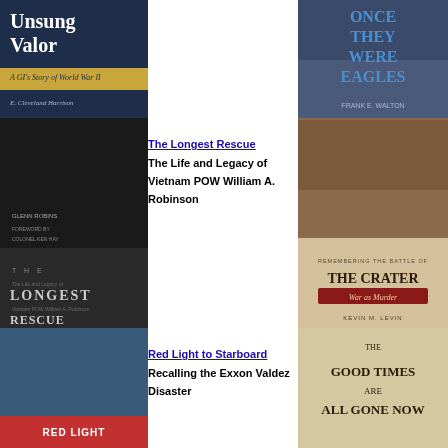[Figure (photo): Book cover: Unsung Valor - A GI's Story of World War II by Cleveland Harrison]
[Figure (photo): Book cover: Once They Were Eagles by Frank E. Walton]
[Figure (photo): Book cover: The Longest Rescue - The Life and Legacy of Vietnam POW William A. Robinson by Glenn Robins]
The Longest Rescue
The Life and Legacy of Vietnam POW William A. Robinson
[Figure (photo): Book cover: Remembering the Battle of The Crater - War as Murder by Kevin M. Levin]
[Figure (photo): Book cover: Red Light to Starboard - Recalling the Exxon Valdez Disaster]
Red Light to Starboard
Recalling the Exxon Valdez Disaster
[Figure (photo): Book cover: The Good Times Are All Gone Now]